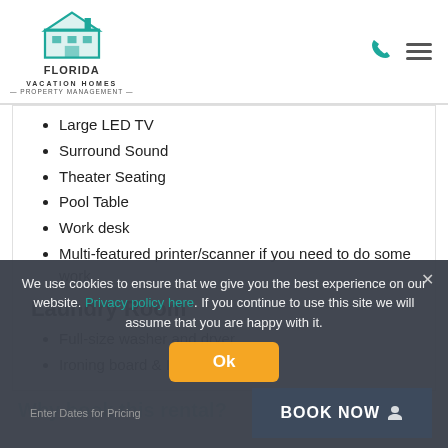Florida Vacation Homes
Large LED TV
Surround Sound
Theater Seating
Pool Table
Work desk
Multi-featured printer/scanner if you need to do some work
Laundry Room
Full-size washer and dryer
Ironing board & Iron
We use cookies to ensure that we give you the best experience on our website. Privacy policy here. If you continue to use this site we will assume that you are happy with it.
Ok
Why book this rental?
Enter Dates for Pricing
BOOK NOW